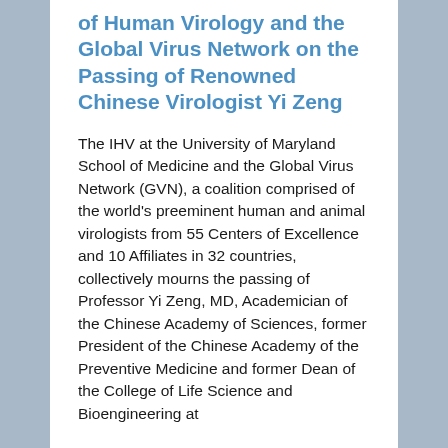of Human Virology and the Global Virus Network on the Passing of Renowned Chinese Virologist Yi Zeng
The IHV at the University of Maryland School of Medicine and the Global Virus Network (GVN), a coalition comprised of the world's preeminent human and animal virologists from 55 Centers of Excellence and 10 Affiliates in 32 countries, collectively mourns the passing of Professor Yi Zeng, MD, Academician of the Chinese Academy of Sciences, former President of the Chinese Academy of the Preventive Medicine and former Dean of the College of Life Science and Bioengineering at